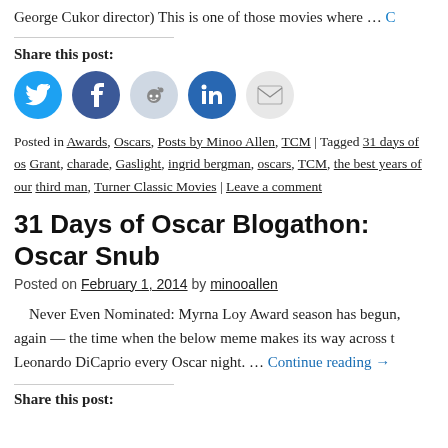George Cukor director) This is one of those movies where … C
Share this post:
[Figure (infographic): Social share icons: Twitter (blue circle), Facebook (dark blue circle), Reddit (light blue circle), LinkedIn (blue circle), Email (gray circle)]
Posted in Awards, Oscars, Posts by Minoo Allen, TCM | Tagged 31 days of os Grant, charade, Gaslight, ingrid bergman, oscars, TCM, the best years of our third man, Turner Classic Movies | Leave a comment
31 Days of Oscar Blogathon: Oscar Snub
Posted on February 1, 2014 by minooallen
Never Even Nominated: Myrna Loy Award season has begun, again — the time when the below meme makes its way across t Leonardo DiCaprio every Oscar night. … Continue reading →
Share this post: